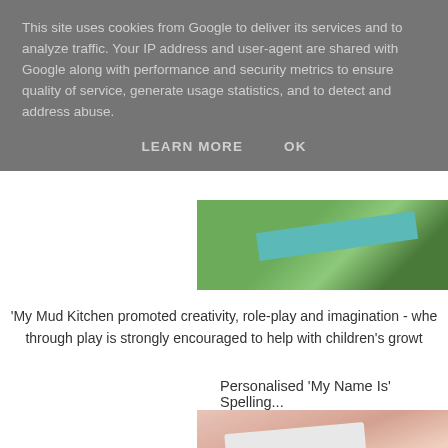This site uses cookies from Google to deliver its services and to analyze traffic. Your IP address and user-agent are shared with Google along with performance and security metrics to ensure quality of service, generate usage statistics, and to detect and address abuse.
LEARN MORE   OK
[Figure (photo): Partial outdoor photo showing green grass and a teal/turquoise board, cut off at top right]
'My Mud Kitchen promoted creativity, role-play and imagination - whe... through play is strongly encouraged to help with children's growt...
Personalised 'My Name Is' Spelling...
[Figure (photo): Photo of a 'My name is...' spelling card with letter tiles on a pink knitted background, partially visible]